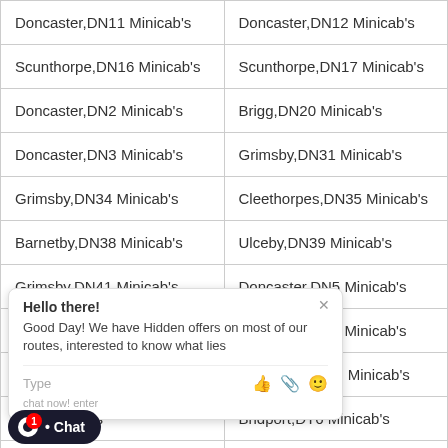| Doncaster,DN11 Minicab's | Doncaster,DN12 Minicab's |
| Scunthorpe,DN16 Minicab's | Scunthorpe,DN17 Minicab's |
| Doncaster,DN2 Minicab's | Brigg,DN20 Minicab's |
| Doncaster,DN3 Minicab's | Grimsby,DN31 Minicab's |
| Grimsby,DN34 Minicab's | Cleethorpes,DN35 Minicab's |
| Barnetby,DN38 Minicab's | Ulceby,DN39 Minicab's |
| Grimsby,DN41 Minicab's | Doncaster,DN5 Minicab's |
| Doncaster,DN8 Minicab's | Doncaster,DN9 Minicab's |
| Bla... T11 Minicab's | Dorchester,DT2 Minicab's |
| Po... ab's | Bridport,DT6 Minicab's |
| Sh... nicab's | Dudley,DY1 Minicab's |
| Dudley,DY2 Minicab's | Dudley,DY3 Minicab's |
| Kingswinford,DY6 Minicab's | Stourbridge,DY7 Minicab's |